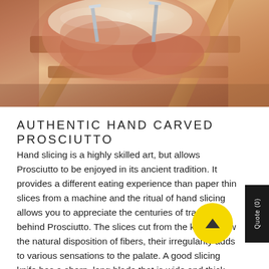[Figure (photo): Close-up photo of prosciutto on a wooden carving stand, showing cured meat with white fat, held by metal clips on a wooden rack]
AUTHENTIC HAND CARVED PROSCIUTTO
Hand slicing is a highly skilled art, but allows Prosciutto to be enjoyed in its ancient tradition. It provides a different eating experience than paper thin slices from a machine and the ritual of hand slicing allows you to appreciate the centuries of tradition behind Prosciutto. The slices cut from the knife follow the natural disposition of fibers, their irregularity adds to various sensations to the palate. A good slicing knife has a sharp, long blade that is wide and thick, moderately flexible to adapt itself to the variations of the form of